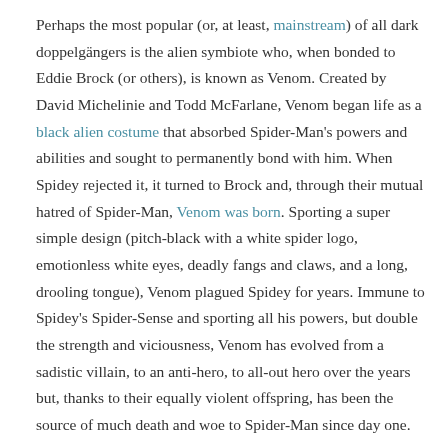Perhaps the most popular (or, at least, mainstream) of all dark doppelgängers is the alien symbiote who, when bonded to Eddie Brock (or others), is known as Venom. Created by David Michelinie and Todd McFarlane, Venom began life as a black alien costume that absorbed Spider-Man's powers and abilities and sought to permanently bond with him. When Spidey rejected it, it turned to Brock and, through their mutual hatred of Spider-Man, Venom was born. Sporting a super simple design (pitch-black with a white spider logo, emotionless white eyes, deadly fangs and claws, and a long, drooling tongue), Venom plagued Spidey for years. Immune to Spidey's Spider-Sense and sporting all his powers, but double the strength and viciousness, Venom has evolved from a sadistic villain, to an anti-hero, to all-out hero over the years but, thanks to their equally violent offspring, has been the source of much death and woe to Spider-Man since day one.